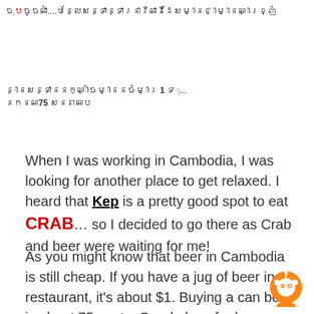ចុបចូវណា....ប្លែសនានិទ្ធណាណាដែសមានជាមុននិងណាខ្ញុម
នានសន្ទាននៅក្នុងណាញ័មណាមាន 1 ទែខ៴ន្ទាននៅក្នុងណាញ័មណាមាន 75 សែន្តឹ
When I was working in Cambodia, I was looking for another place to get relaxed. I heard that Kep is a pretty good spot to eat CRAB… so I decided to go there as Crab and beer were waiting for me!
As you might know that beer in Cambodia is still cheap. If you have a jug of beer in a restaurant, it's about $1. Buying a can beer is about 75 cents. Good place for beer lovers!
[Figure (logo): Reddit alien mascot logo in orange speech bubble]